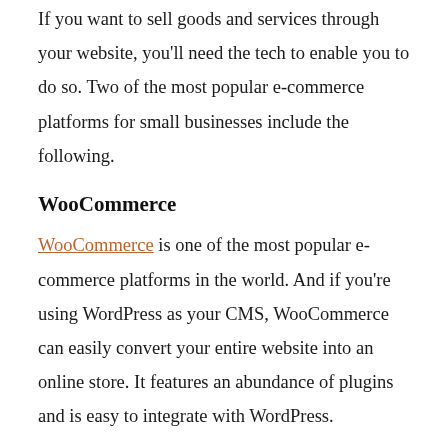If you want to sell goods and services through your website, you'll need the tech to enable you to do so. Two of the most popular e-commerce platforms for small businesses include the following.
WooCommerce
WooCommerce is one of the most popular e-commerce platforms in the world. And if you're using WordPress as your CMS, WooCommerce can easily convert your entire website into an online store. It features an abundance of plugins and is easy to integrate with WordPress.